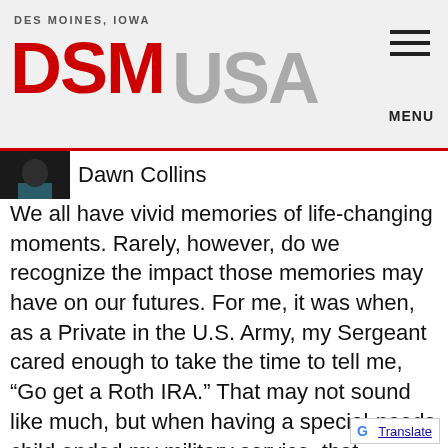DES MOINES, IOWA DSM USA MENU
[Figure (photo): Small portrait photo of Dawn Collins on dark background, partially cropped]
Dawn Collins
We all have vivid memories of life-changing moments. Rarely, however, do we recognize the impact those memories may have on our futures. For me, it was when, as a Private in the U.S. Army, my Sergeant cared enough to take the time to tell me, “Go get a Roth IRA.” That may not sound like much, but when having a special-needs child ended my military service, that exhibition of care provided a foundation
G Translate